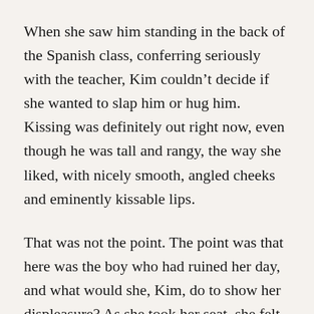When she saw him standing in the back of the Spanish class, conferring seriously with the teacher, Kim couldn't decide if she wanted to slap him or hug him. Kissing was definitely out right now, even though he was tall and rangy, the way she liked, with nicely smooth, angled cheeks and eminently kissable lips.
That was not the point. The point was that here was the boy who had ruined her day, and what would she, Kim, do to show her displeasure? As she took her seat, she felt Tristan's eyes on her. Clearly the first step was to ignore him during class. That would make him realize something was wrong. Then, when he asked what was wrong, she'd tell him – in